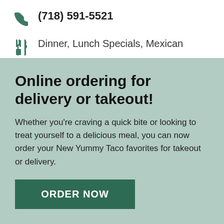(718) 591-5521
Dinner, Lunch Specials, Mexican
Today Delivery: 12:00 PM - 9:45 PM
Takeout: 12:00 PM - 9:00 PM
Online ordering for delivery or takeout!
Whether you're craving a quick bite or looking to treat yourself to a delicious meal, you can now order your New Yummy Taco favorites for takeout or delivery.
ORDER NOW